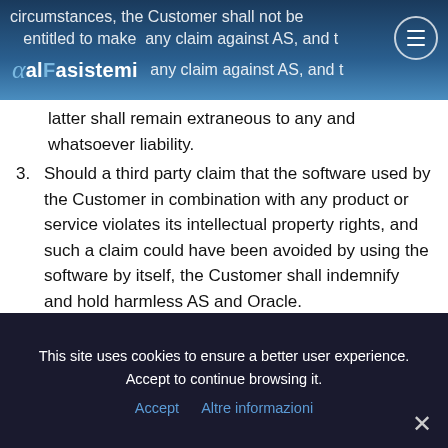alfasistemi — circumstances, the Customer shall not be entitled to make any claim against AS, and the latter shall remain extraneous to any and whatsoever liability.
3. Should a third party claim that the software used by the Customer in combination with any product or service violates its intellectual property rights, and such a claim could have been avoided by using the software by itself, the Customer shall indemnify and hold harmless AS and Oracle.
4. This Article provides for all the remedies for infringements of intellectual property rights, to
This site uses cookies to ensure a better user experience. Accept to continue browsing it.
Accept   Altre informazioni